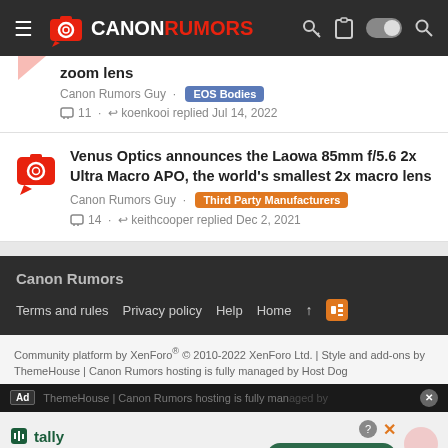Canon Rumors
zoom lens
Canon Rumors Guy · EOS Bodies · 11 · koenkooi replied Jul 14, 2022
Venus Optics announces the Laowa 85mm f/5.6 2x Ultra Macro APO, the world's smallest 2x macro lens
Canon Rumors Guy · Third Party Manufacturers · 14 · keithcooper replied Dec 2, 2021
Canon Rumors
Terms and rules · Privacy policy · Help · Home
Community platform by XenForo® © 2010-2022 XenForo Ltd. | Style and add-ons by ThemeHouse | Canon Rumors hosting is fully managed by Host Dog